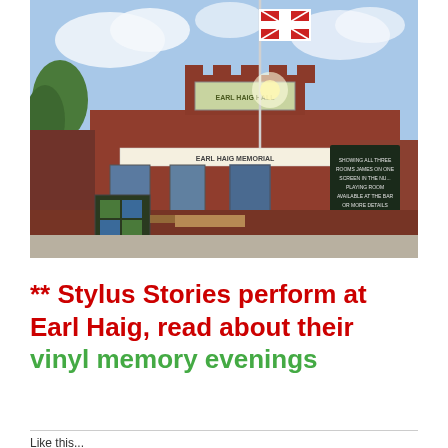[Figure (photo): Exterior photograph of Earl Haig Memorial Hall, a red brick building with a Union Jack flag on a flagpole, a banner reading 'EARL HAIG MEMORIAL', battlemented parapet, and a chalkboard sign on the right side. Outdoor seating and trees visible.]
** Stylus Stories perform at Earl Haig, read about their vinyl memory evenings
Like this...